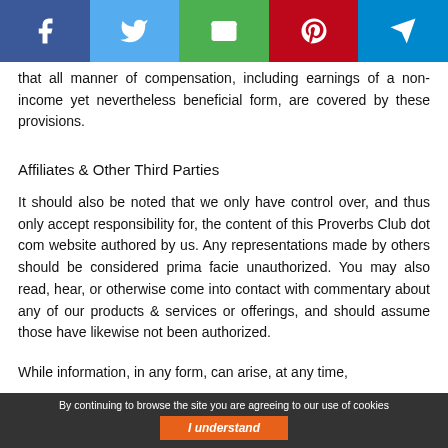[Figure (infographic): Social share bar with Facebook, Twitter, Email, Pinterest, and Telegram buttons]
that all manner of compensation, including earnings of a non-income yet nevertheless beneficial form, are covered by these provisions.
Affiliates & Other Third Parties
It should also be noted that we only have control over, and thus only accept responsibility for, the content of this Proverbs Club dot com website authored by us. Any representations made by others should be considered prima facie unauthorized. You may also read, hear, or otherwise come into contact with commentary about any of our products & services or offerings, and should assume those have likewise not been authorized.
While information, in any form, can arise, at any time,
By continuing to browse the site you are agreeing to our use of cookies  I understand